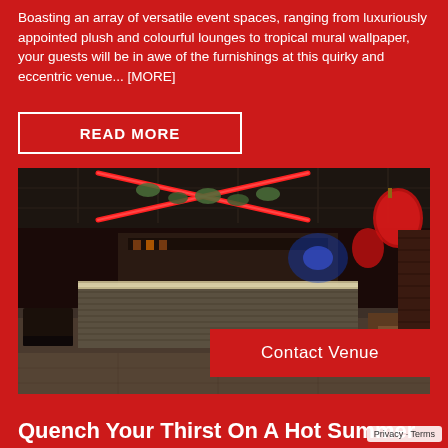Boasting an array of versatile event spaces, ranging from luxuriously appointed plush and colourful lounges to tropical mural wallpaper, your guests will be in awe of the furnishings at this quirky and eccentric venue... [MORE]
READ MORE
[Figure (photo): Interior of a bar venue with a large central bar counter with corrugated metal cladding and glowing underlit countertop, dramatic red neon X-shaped ceiling lights with floral decorations, ornate red lantern-style pendant lights on the right, dark atmospheric lighting with blue accent light in background, dining tables and chairs visible on both sides.]
Contact Venue
Quench Your Thirst On A Hot Summer